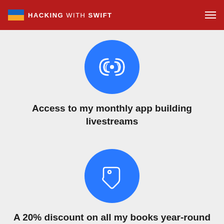HACKING WITH SWIFT
[Figure (illustration): Blue circle with a radio/broadcast signal icon (concentric arcs around a dot) representing livestreams]
Access to my monthly app building livestreams
[Figure (illustration): Blue circle with a price tag icon representing discount]
A 20% discount on all my books year-round